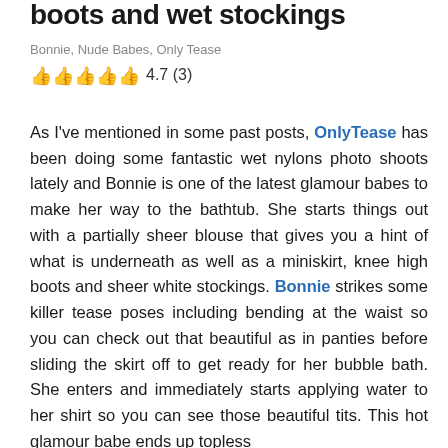boots and wet stockings
Bonnie, Nude Babes, Only Tease
4.7 (3)
As I've mentioned in some past posts, OnlyTease has been doing some fantastic wet nylons photo shoots lately and Bonnie is one of the latest glamour babes to make her way to the bathtub. She starts things out with a partially sheer blouse that gives you a hint of what is underneath as well as a miniskirt, knee high boots and sheer white stockings. Bonnie strikes some killer tease poses including bending at the waist so you can check out that beautiful as in panties before sliding the skirt off to get ready for her bubble bath. She enters and immediately starts applying water to her shirt so you can see those beautiful tits. This hot glamour babe ends up topless